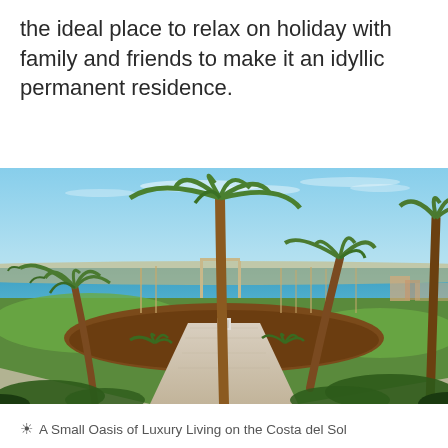the ideal place to relax on holiday with family and friends to make it an idyllic permanent residence.
[Figure (photo): Outdoor pathway at a luxury residential resort on the Costa del Sol, lined with tall palm trees and lush green lawns, with a clear blue sea visible in the background under a bright sky.]
A Small Oasis of Luxury Living on the Costa del Sol